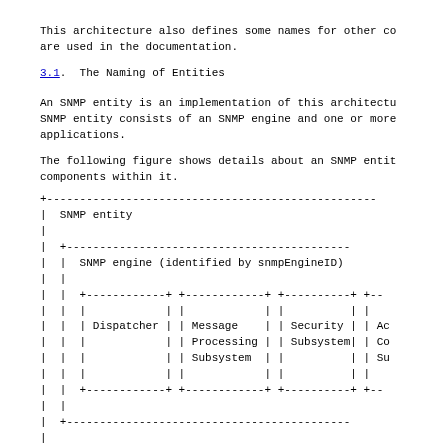This architecture also defines some names for other co
are used in the documentation.
3.1.  The Naming of Entities
An SNMP entity is an implementation of this architectu
SNMP entity consists of an SNMP engine and one or more
applications.
The following figure shows details about an SNMP entit
components within it.
[Figure (schematic): ASCII art diagram showing an SNMP entity containing an SNMP engine (identified by snmpEngineID) with boxes for Dispatcher, Message Processing Subsystem, Security Subsystem, and Access Control Subsystem (partially visible), and below a dashed border for Application(s).]